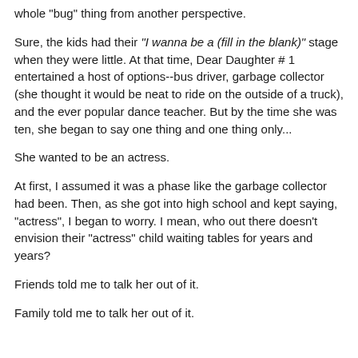whole "bug" thing from another perspective.
Sure, the kids had their "I wanna be a (fill in the blank)" stage when they were little. At that time, Dear Daughter # 1 entertained a host of options--bus driver, garbage collector (she thought it would be neat to ride on the outside of a truck), and the ever popular dance teacher. But by the time she was ten, she began to say one thing and one thing only...
She wanted to be an actress.
At first, I assumed it was a phase like the garbage collector had been. Then, as she got into high school and kept saying, "actress", I began to worry. I mean, who out there doesn't envision their "actress" child waiting tables for years and years?
Friends told me to talk her out of it.
Family told me to talk her out of it.